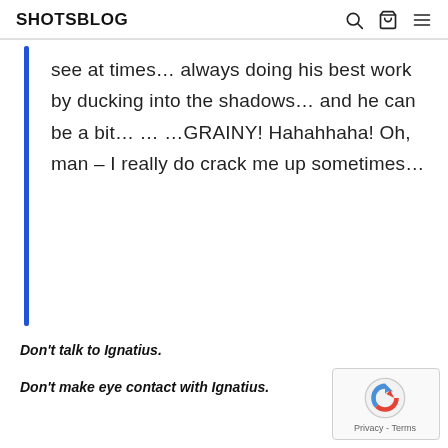SHOTSBLOG
see at times… always doing his best work by ducking into the shadows… and he can be a bit… … …GRAINY! Hahahhaha! Oh, man – I really do crack me up sometimes…
Don't talk to Ignatius.
Don't make eye contact with Ignatius.